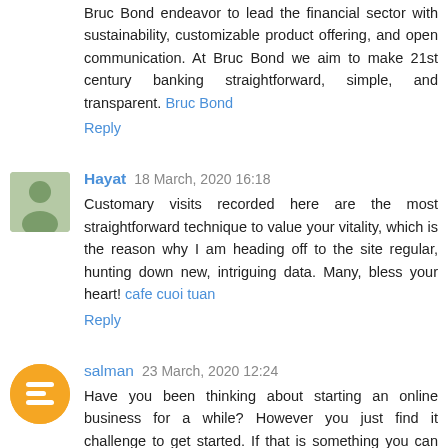Bruc Bond endeavor to lead the financial sector with sustainability, customizable product offering, and open communication. At Bruc Bond we aim to make 21st century banking straightforward, simple, and transparent. Bruc Bond
Reply
Hayat 18 March, 2020 16:18
Customary visits recorded here are the most straightforward technique to value your vitality, which is the reason why I am heading off to the site regular, hunting down new, intriguing data. Many, bless your heart! cafe cuoi tuan
Reply
salman 23 March, 2020 12:24
Have you been thinking about starting an online business for a while? However you just find it challenge to get started. If that is something you can relate to you, carry on